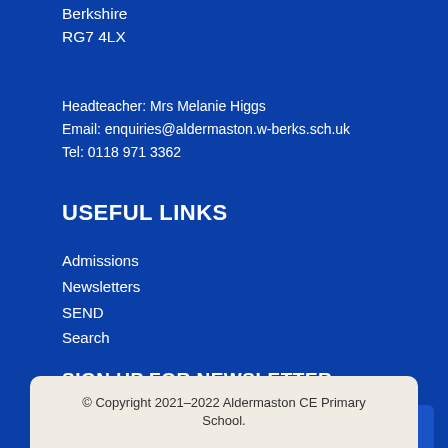Berkshire
RG7 4LX
Headteacher: Mrs Melanie Higgs
Email: enquiries@aldermaston.w-berks.sch.uk
Tel: 0118 971 3362
USEFUL LINKS
Admissions
Newsletters
SEND
Search
SIGN UP FOR NEWSLETTER
Email
SUBSCRIBE
© Copyright 2021–2022 Aldermaston CE Primary School.